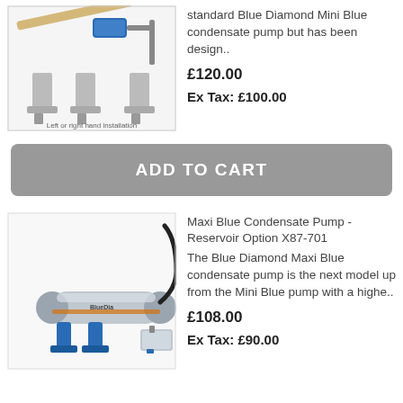standard Blue Diamond Mini Blue condensate pump but has been design..
£120.00
Ex Tax: £100.00
[Figure (photo): Blue Diamond Mini Blue condensate pump showing left or right hand installation with mounting brackets]
ADD TO CART
Maxi Blue Condensate Pump - Reservoir Option X87-701
The Blue Diamond Maxi Blue condensate pump is the next model up from the Mini Blue pump with a highe..
£108.00
Ex Tax: £90.00
[Figure (photo): Blue Diamond Maxi Blue condensate pump silver cylindrical unit with blue mounting feet and separate reservoir component]